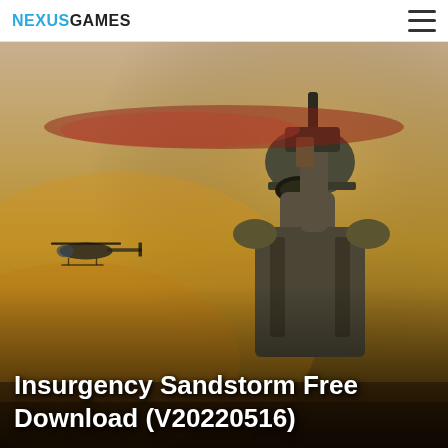NEXUSGAMES
[Figure (photo): Insurgency Sandstorm game cover art showing a soldier in tactical gear with helmet and goggles holding a weapon, with a military helicopter in the background. The game logo 'INSURGENCY SANDSTORM' is displayed prominently at the top in large distressed lettering.]
Insurgency Sandstorm Free Download (V20220516)